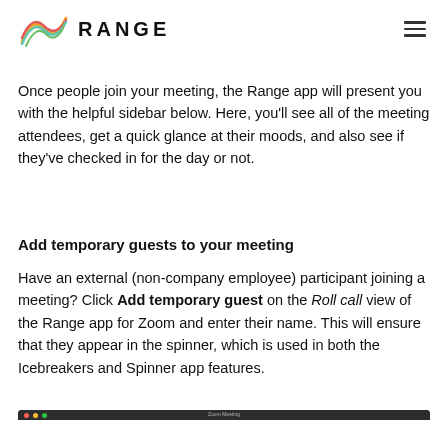RANGE
Once people join your meeting, the Range app will present you with the helpful sidebar below. Here, you'll see all of the meeting attendees, get a quick glance at their moods, and also see if they've checked in for the day or not.
Add temporary guests to your meeting
Have an external (non-company employee) participant joining a meeting? Click Add temporary guest on the Roll call view of the Range app for Zoom and enter their name. This will ensure that they appear in the spinner, which is used in both the Icebreakers and Spinner app features.
[Figure (screenshot): Screenshot of a Zoom Meeting window showing the Range app interface]